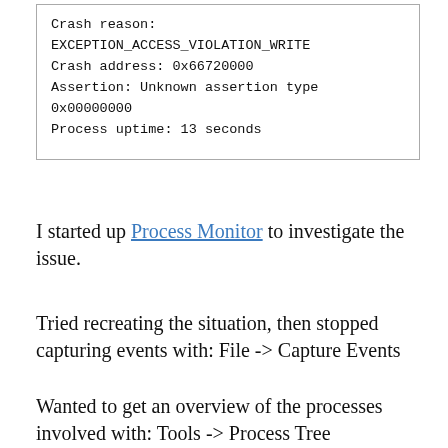[Figure (screenshot): Code/text box with monospace content showing crash reason, address, assertion, and process uptime]
I started up Process Monitor to investigate the issue.
Tried recreating the situation, then stopped capturing events with: File -> Capture Events
Wanted to get an overview of the processes involved with: Tools -> Process Tree